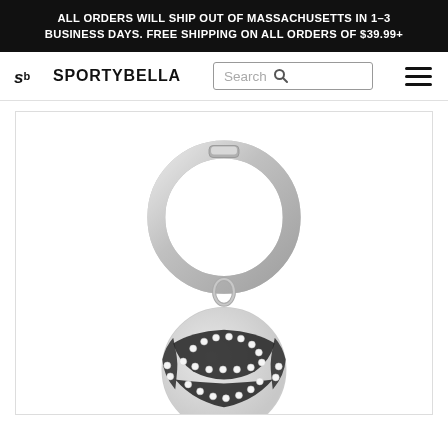ALL ORDERS WILL SHIP OUT OF MASSACHUSETTS IN 1–3 BUSINESS DAYS. FREE SHIPPING ON ALL ORDERS OF $39.99+
[Figure (logo): Sporty Bella logo with 'sb' icon and text 'SPORTYBELLA']
[Figure (photo): A silver metal key ring with a volleyball-shaped crystal and enamel charm pendant featuring rhinestone embellishments on a white background]